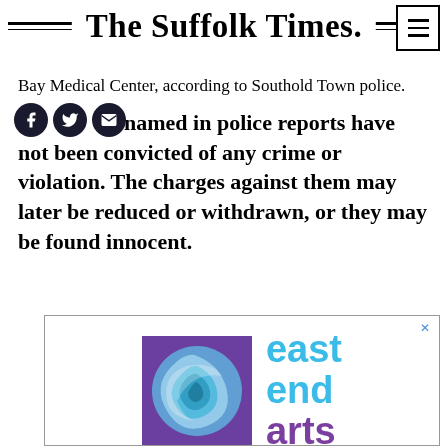The Suffolk Times.
Bay Medical Center, according to Southold Town police.
Those who are named in police reports have not been convicted of any crime or violation. The charges against them may later be reduced or withdrawn, or they may be found innocent.
[Figure (logo): East End Arts advertisement logo featuring a swirling blue circle on a purple square background, with 'east end arts' text in blue and purple.]